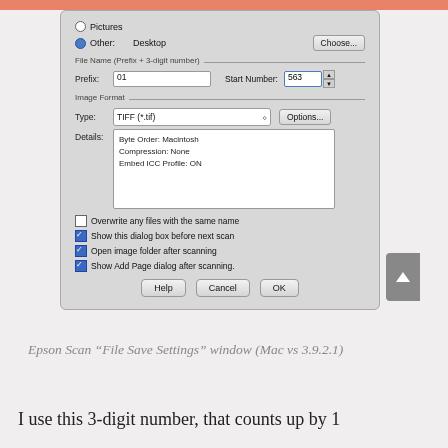[Figure (screenshot): Epson Scan 'File Save Settings' dialog window on Mac (version 3.9.2.1), showing options for file destination (Pictures, Other: Desktop), File Name prefix '01' and Start Number '563', Image Format Type 'TIFF (*.tif)' with Options button, Details showing Byte Order: Macintosh / Compression: None / Embed ICC Profile: ON, checkboxes for Overwrite any files with the same name (unchecked), Show this dialog box before next scan (checked), Open image folder after scanning (checked), Show Add Page dialog after scanning (checked), and Help / Cancel / OK buttons.]
Epson Scan “File Save Settings” window (Mac vs 3.9.2.1)
I use this 3-digit number, that counts up by 1